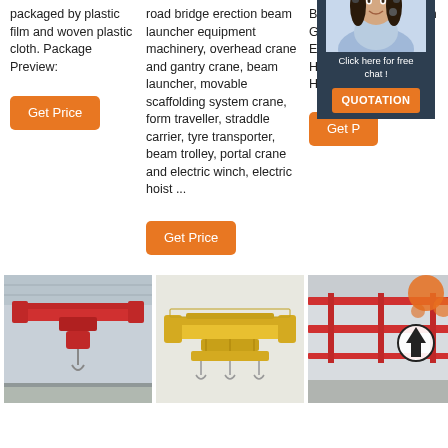packaged by plastic film and woven plastic cloth. Package Preview:
[Figure (other): Orange 'Get Price' button]
road bridge erection beam launcher equipment machinery, overhead crane and gantry crane, beam launcher, movable scaffolding system crane, form traveller, straddle carrier, tyre transporter, beam trolley, portal crane and electric winch, electric hoist ...
[Figure (other): Orange 'Get Price' button]
Blue Cross Limiter with Galvanized Steel, Electric Chain Hoist/Manual Chain Hoist and so on.
[Figure (other): Partial orange 'Get P...' button and 24/7 online chat widget with female agent photo, 'Click here for free chat!' text, and orange QUOTATION button]
[Figure (photo): Photo of red overhead crane in industrial building]
[Figure (photo): Photo of yellow bridge crane/beam launcher]
[Figure (photo): Photo of red overhead crane system with decorative orange circle graphic overlay]